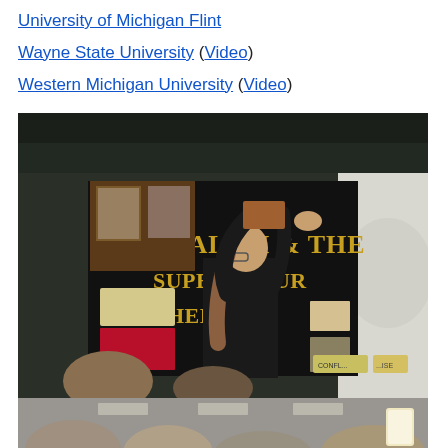University of Michigan Flint
Wayne State University (Video)
Western Michigan University (Video)
[Figure (photo): A student in a black outfit places photos or materials on a large dark display board that reads 'SALEM & THE SUPERNATURAL PHENOMENA'. Several audience members are visible in the foreground watching.]
[Figure (photo): Bottom portion showing audience members seated, viewed from behind, with one person holding a glowing phone/device.]